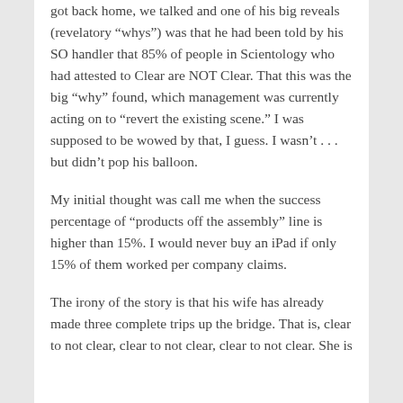got back home, we talked and one of his big reveals (revelatory “whys”) was that he had been told by his SO handler that 85% of people in Scientology who had attested to Clear are NOT Clear. That this was the big “why” found, which management was currently acting on to “revert the existing scene.” I was supposed to be wowed by that, I guess. I wasn’t . . . but didn’t pop his balloon.
My initial thought was call me when the success percentage of “products off the assembly” line is higher than 15%. I would never buy an iPad if only 15% of them worked per company claims.
The irony of the story is that his wife has already made three complete trips up the bridge. That is, clear to not clear, clear to not clear, clear to not clear. She is